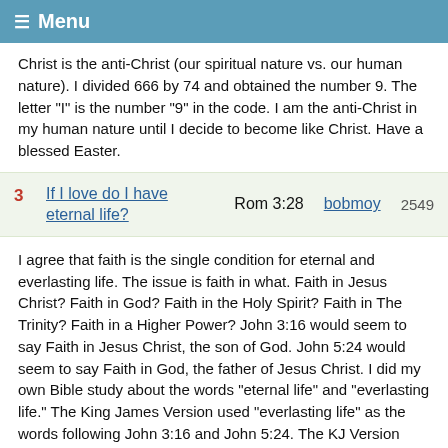☰ Menu
Christ is the anti-Christ (our spiritual nature vs. our human nature). I divided 666 by 74 and obtained the number 9. The letter "I" is the number "9" in the code. I am the anti-Christ in my human nature until I decide to become like Christ. Have a blessed Easter.
3   If I love do I have eternal life?   Rom 3:28   bobmoy   2549
I agree that faith is the single condition for eternal and everlasting life. The issue is faith in what. Faith in Jesus Christ? Faith in God? Faith in the Holy Spirit? Faith in The Trinity? Faith in a Higher Power? John 3:16 would seem to say Faith in Jesus Christ, the son of God. John 5:24 would seem to say Faith in God, the father of Jesus Christ. I did my own Bible study about the words "eternal life" and "everlasting life." The King James Version used "everlasting life" as the words following John 3:16 and John 5:24. The KJ Version used "eternal life" when Jesus told the lawyer to love God, his neighbor and himself and when Jesus told the rich